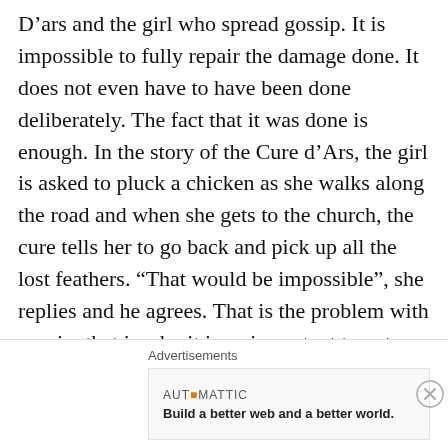D'ars and the girl who spread gossip. It is impossible to fully repair the damage done. It does not even have to have been done deliberately. The fact that it was done is enough. In the story of the Cure d'Ars, the girl is asked to pluck a chicken as she walks along the road and when she gets to the church, the cure tells her to go back and pick up all the lost feathers. “That would be impossible”, she replies and he agrees. That is the problem with gossip. that is why it is so important to get things right. The Mail finishes its story by printing these two telling tweets from Eamonn
Advertisements
[Figure (other): Automattic advertisement banner reading 'Build a better web and a better world.']